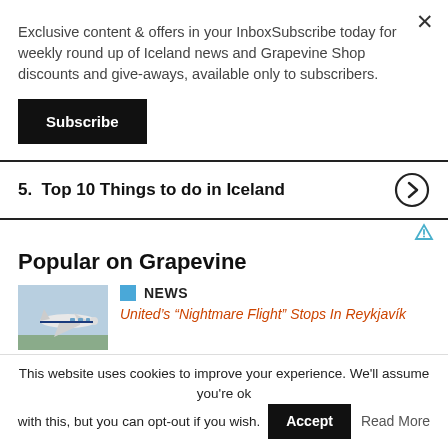Exclusive content & offers in your InboxSubscribe today for weekly round up of Iceland news and Grapevine Shop discounts and give-aways, available only to subscribers.
Subscribe
5.  Top 10 Things to do in Iceland
Popular on Grapevine
NEWS
United’s “Nightmare Flight” Stops In Reykjavík
NEWS
This website uses cookies to improve your experience. We'll assume you're ok with this, but you can opt-out if you wish.
Accept
Read More